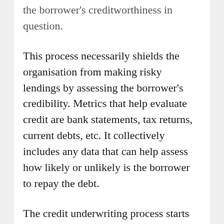the borrower's creditworthiness in question.
This process necessarily shields the organisation from making risky lendings by assessing the borrower's credibility. Metrics that help evaluate credit are bank statements, tax returns, current debts, etc. It collectively includes any data that can help assess how likely or unlikely is the borrower to repay the debt.
The credit underwriting process starts with bank statement analysis. However, technology has widened the bandwidth of risk assessment by including data points that genuinely contribute to ascertaining the quality of loan applications. Moreover, these data points go beyond simple